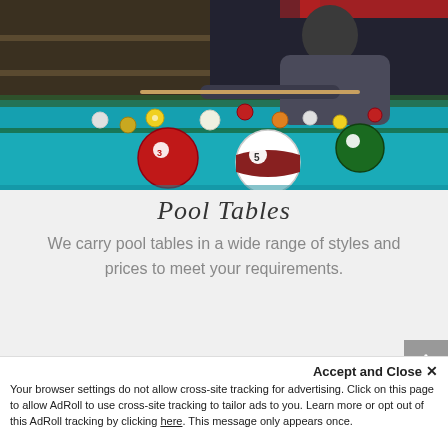[Figure (photo): A person leaning over a pool table with billiard balls on a teal/blue-green felt surface, shot from close up showing several colored pool balls in the foreground.]
Pool Tables
We carry pool tables in a wide range of styles and prices to meet your requirements.
Contact Us to Learn More About Our Services
Accept and Close ✕
Your browser settings do not allow cross-site tracking for advertising. Click on this page to allow AdRoll to use cross-site tracking to tailor ads to you. Learn more or opt out of this AdRoll tracking by clicking here. This message only appears once.